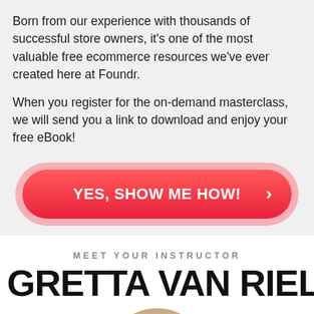Born from our experience with thousands of successful store owners, it's one of the most valuable free ecommerce resources we've ever created here at Foundr.
When you register for the on-demand masterclass, we will send you a link to download and enjoy your free eBook!
[Figure (other): Red CTA button with white bold text reading 'YES, SHOW ME HOW!' and a right-arrow chevron on the right side, with a pink outer glow/border on a light gray background.]
MEET YOUR INSTRUCTOR
GRETTA VAN RIEL
[Figure (photo): Partial photo of a woman with blonde hair, cropped at the bottom of the page. A dark rounded chat bubble icon is overlaid in the bottom-right corner.]